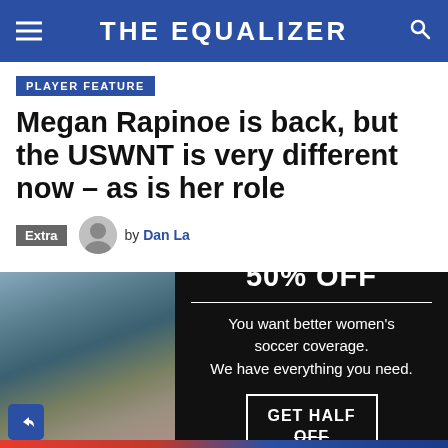THE EQUALIZER
PLAYER FEATURE
Megan Rapinoe is back, but the USWNT is very different now – as is her role
Extra
by Dan La
[Figure (photo): Blurred photo of a crowd at a soccer stadium]
[Figure (infographic): Black advertisement overlay reading '50% OFF — You want better women's soccer coverage. We have everything you need. GET HALF OFF']